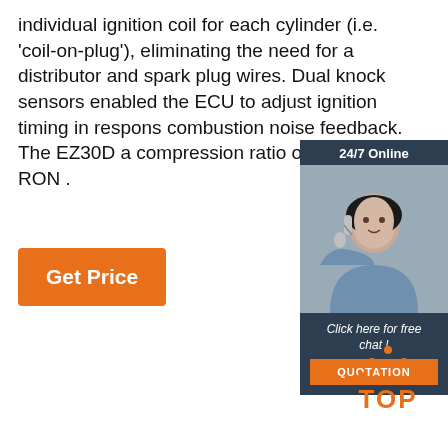individual ignition coil for each cylinder (i.e. 'coil-on-plug'), eliminating the need for a distributor and spark plug wires. Dual knock sensors enabled the ECU to adjust ignition timing in respons combustion noise feedback. The EZ30D a compression ratio of 10.7:1; 95 RON .
[Figure (other): Orange 'Get Price' button]
[Figure (other): 24/7 Online chat widget with photo of woman wearing headset, 'Click here for free chat!' text, and orange QUOTATION button]
[Figure (logo): Orange TOP logo with dots arranged in triangle above the word TOP]